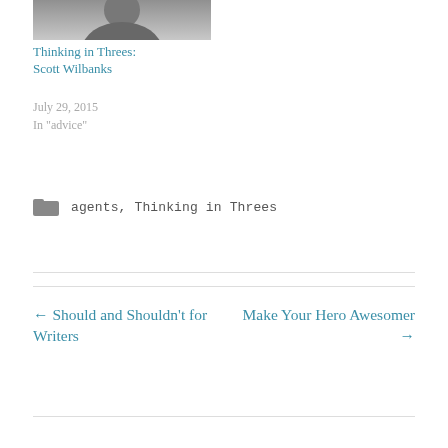[Figure (photo): Black and white photo of a person, partially visible at top of page]
Thinking in Threes: Scott Wilbanks
July 29, 2015
In "advice"
agents, Thinking in Threes
← Should and Shouldn't for Writers
Make Your Hero Awesomer →